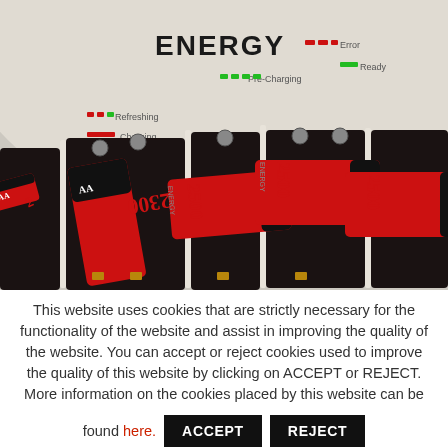[Figure (photo): Close-up photograph of a battery charger labeled 'ENERGY' with multiple AA NiMH rechargeable batteries (2300/2500 mAh) inserted into the charging slots. The charger has LED indicators for status modes: Error, Ready, Pre-Charging, Refreshing, and Charging. The batteries are red and black.]
This website uses cookies that are strictly necessary for the functionality of the website and assist in improving the quality of the website. You can accept or reject cookies used to improve the quality of this website by clicking on ACCEPT or REJECT. More information on the cookies placed by this website can be found here.